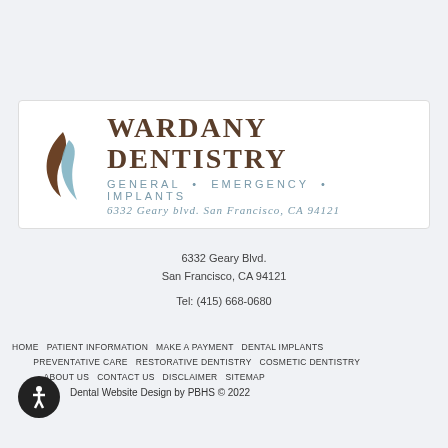[Figure (logo): Wardany Dentistry logo with stylized swoosh graphic, text: WARDANY DENTISTRY, GENERAL • EMERGENCY • IMPLANTS, 6332 Geary blvd. San Francisco, CA 94121]
6332 Geary Blvd.
San Francisco, CA 94121
Tel: (415) 668-0680
HOME  PATIENT INFORMATION  MAKE A PAYMENT  DENTAL IMPLANTS  PREVENTATIVE CARE  RESTORATIVE DENTISTRY  COSMETIC DENTISTRY  ABOUT US  CONTACT US  DISCLAIMER  SITEMAP  Dental Website Design by PBHS © 2022